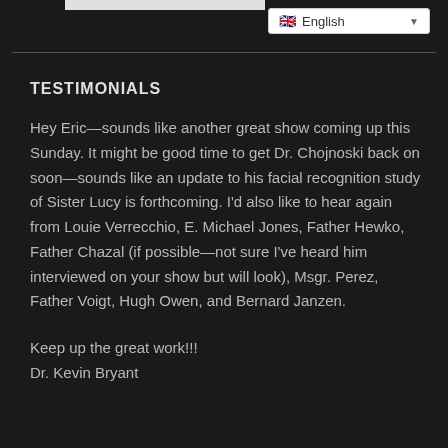English
TESTIMONIALS
Hey Eric—sounds like another great show coming up this Sunday. It might be good time to get Dr. Chojnoski back on soon—sounds like an update to his facial recognition study of Sister Lucy is forthcoming. I'd also like to hear again from Louie Verrecchio, E. Michael Jones, Father Hewko, Father Chazal (if possible—not sure I've heard him interviewed on your show but will look), Msgr. Perez, Father Voigt, Hugh Owen, and Bernard Janzen.
Keep up the great work!!!
Dr. Kevin Bryant